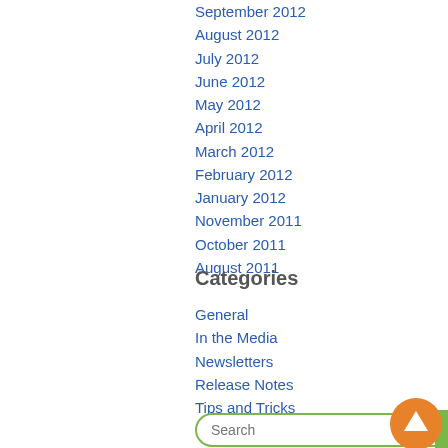September 2012
August 2012
July 2012
June 2012
May 2012
April 2012
March 2012
February 2012
January 2012
November 2011
October 2011
August 2011
Categories
General
In the Media
Newsletters
Release Notes
Tips and Tricks
Uncategorized
[Figure (other): Search bar with green search button and orange scroll-to-top arrow button]